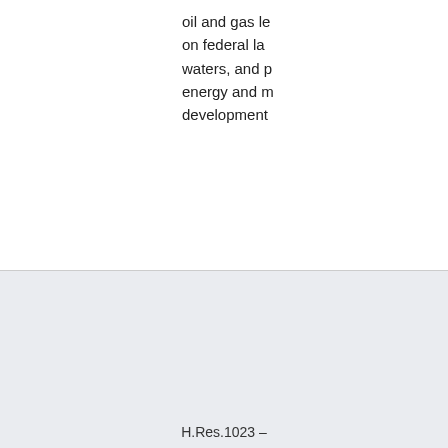oil and gas le on federal la waters, and p energy and m development
Republicans to amend the ru immediately consider H.R. the PAUSE A (Herrell). Ou southern bo experiencing unprecedent crisis, but ins working to a the problem,
H.Res.1023 –